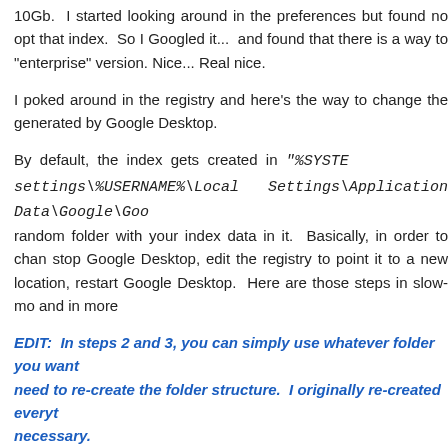10Gb.  I started looking around in the preferences but found no opt that index.  So I Googled it...  and found that there is a way to "enterprise" version. Nice... Real nice.
I poked around in the registry and here's the way to change the generated by Google Desktop.
By default, the index gets created in "%SYSTE settings\%USERNAME%\Local Settings\Application Data\Google\Goo random folder with your index data in it.  Basically, in order to chan stop Google Desktop, edit the registry to point it to a new location, restart Google Desktop.  Here are those steps in slow-mo and in more
EDIT:  In steps 2 and 3, you can simply use whatever folder you want need to re-create the folder structure.  I originally re-created everyt necessary.
Stop Google desktop by right-clicking the icon in the task ba necessary so you don't break anything while moving the index knows the location has changed.